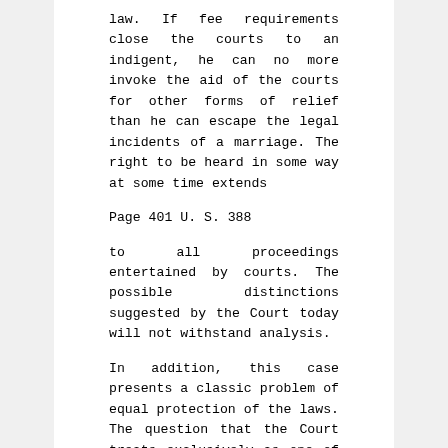law. If fee requirements close the courts to an indigent, he can no more invoke the aid of the courts for other forms of relief than he can escape the legal incidents of a marriage. The right to be heard in some way at some time extends
Page 401 U. S. 388
to all proceedings entertained by courts. The possible distinctions suggested by the Court today will not withstand analysis.
In addition, this case presents a classic problem of equal protection of the laws. The question that the Court treats exclusively as one of due process inevitably implicates considerations of both due process and equal protection. Certainly, there is at issue the denial of a hearing, a matter for analysis under the Due Process Clause. But Connecticut does not deny a hearing to everyone in